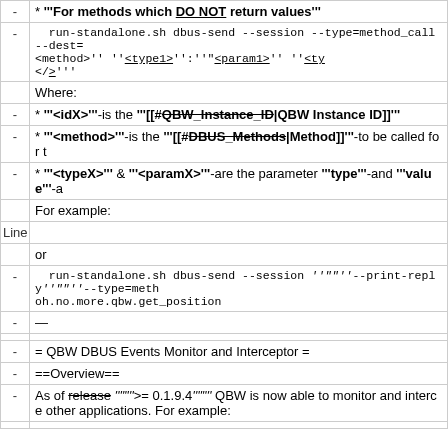| - | * '''For methods which <u>DO NOT</u> return values''' |
| - |   run-standalone.sh dbus-send --session --type=method_call --dest=o <method></u>'' ''<u><type1></u>'':''"<u><param1></u>'' ''<u><ty </u>''' |
|  | Where: |
| - | * '''<idX>'''-is the '''[[#QBW_Instance_ID|QBW Instance ID]]''' |
| - | * '''<method>'''-is the '''[[#DBUS_Methods|Method]]'''-to be called for t |
| - | * '''<typeX>''' & '''<paramX>'''-are the parameter '''type'''-and '''value'''-a |
|  | For example: |
| Line 625: |  |
|  | or |
| - |   run-standalone.sh dbus-send --session ''""''--print-reply''""''--type=meth oh.no.more.qbw.get_position |
| - | — |
|  |  |
| - | = QBW DBUS Events Monitor and Interceptor = |
| - | ==Overview== |
| - | As of release ''""''>= 0.1.9.4''""'' QBW is now able to monitor and interce other applications. For example: |
|  |  |